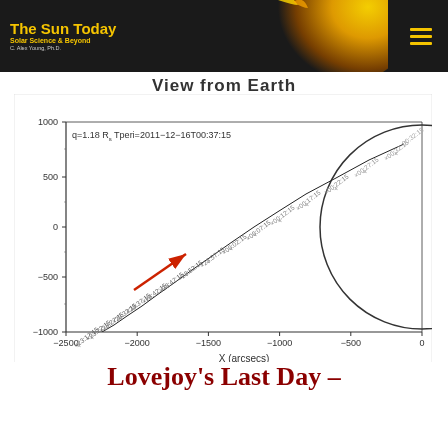The Sun Today | Solar Science & Beyond | C. Alex Young, Ph.D.
View from Earth
[Figure (continuous-plot): Orbital trajectory plot of Comet Lovejoy as seen from Earth. X-axis: X (arcsecs) from -2500 to 0. Y-axis (unlabeled) from -1000 to 1000. Header text: q=1.18 Rs  Tperi=2011-12-16T00:37:15. A circle (the Sun's disk) is drawn on the right side. The comet trajectory is marked with time labels at 5-minute intervals: x23:17:15, x23:22:15, x23:27:15, x23:32:15, x23:37:15, x23:42:15, x23:47:15, x23:52:15, x23:57:15, x00:02:15, x00:07:15, x00:12:15, x00:17:15, x00:22:15, x00:27:15, x00:32:15. A red arrow points toward the upper right indicating direction of motion.]
Lovejoy's Last Day –